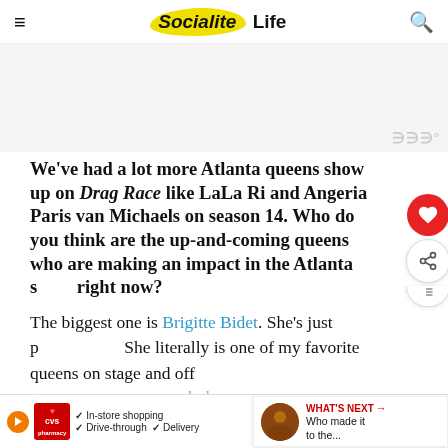Socialite Life
[Figure (other): Advertisement placeholder block with watermark symbols]
We've had a lot more Atlanta queens show up on Drag Race like LaLa Ri and Angeria Paris van Michaels on season 14. Who do you think are the up-and-coming queens who are making an impact in the Atlanta scene right now?
The biggest one is Brigitte Bidet. She's just phenomenal. She literally is one of my favorite queens on stage and off stage…